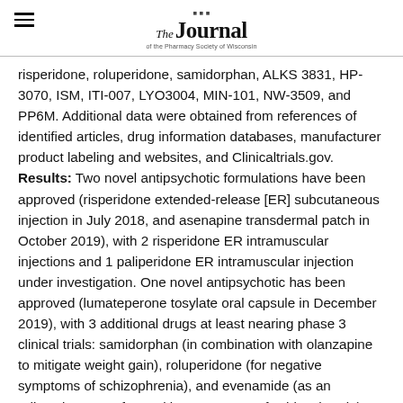The Journal of the Pharmacy Society of Wisconsin
risperidone, roluperidone, samidorphan, ALKS 3831, HP-3070, ISM, ITI-007, LYO3004, MIN-101, NW-3509, and PP6M. Additional data were obtained from references of identified articles, drug information databases, manufacturer product labeling and websites, and Clinicaltrials.gov. Results: Two novel antipsychotic formulations have been approved (risperidone extended-release [ER] subcutaneous injection in July 2018, and asenapine transdermal patch in October 2019), with 2 risperidone ER intramuscular injections and 1 paliperidone ER intramuscular injection under investigation. One novel antipsychotic has been approved (lumateperone tosylate oral capsule in December 2019), with 3 additional drugs at least nearing phase 3 clinical trials: samidorphan (in combination with olanzapine to mitigate weight gain), roluperidone (for negative symptoms of schizophrenia), and evenamide (as an adjunctive agent for positive symptoms of schizophrenia). Conclusions: As antipsychotic non-adherence increases risk of